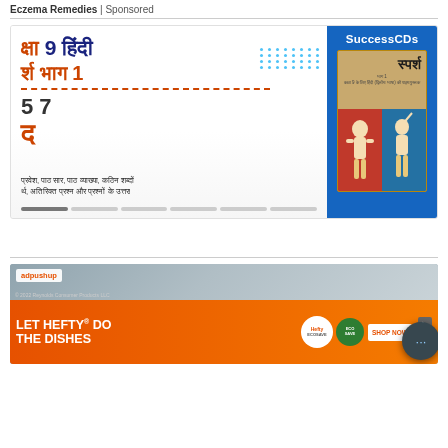Eczema Remedies | Sponsored
[Figure (screenshot): Educational content card for Class 9 Hindi Sparsh Bhag 1, Chapter 7, with SuccessCDs branding and book cover showing Sparsh textbook]
[Figure (photo): Advertisement banner showing 'adpushup' label and 'LET HEFTY DO THE DISHES' ad with ECOSAVE product and SHOP NOW button]